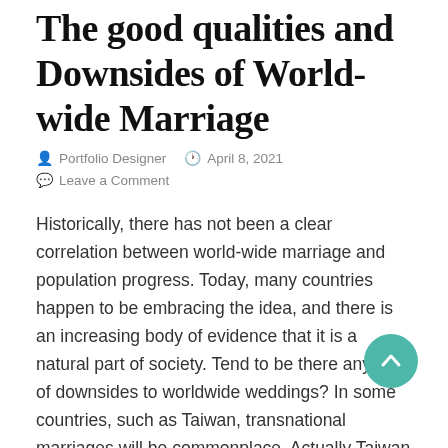The good qualities and Downsides of World-wide Marriage
Portfolio Designer   April 8, 2021
Leave a Comment
Historically, there has not been a clear correlation between world-wide marriage and population progress. Today, many countries happen to be embracing the idea, and there is an increasing body of evidence that it is a natural part of society. Tend to be there any kind of downsides to worldwide weddings? In some countries, such as Taiwan, transnational marriages will be commonplace. Actually Taiwan provides the largest proportion of overseas brides in the world. In 1999, 13% of women in Taiwan had been foreign-born, in addition to